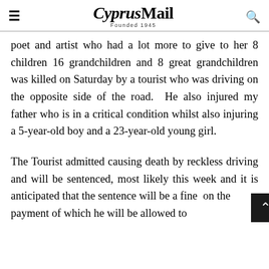CyprusMail — Founded 1945
poet and artist who had a lot more to give to her 8 children 16 grandchildren and 8 great grandchildren was killed on Saturday by a tourist who was driving on the opposite side of the road.  He also injured my father who is in a critical condition whilst also injuring a 5-year-old boy and a 23-year-old young girl.
The Tourist admitted causing death by reckless driving and will be sentenced, most likely this week and it is anticipated that the sentence will be a fine  on the payment of which he will be allowed to